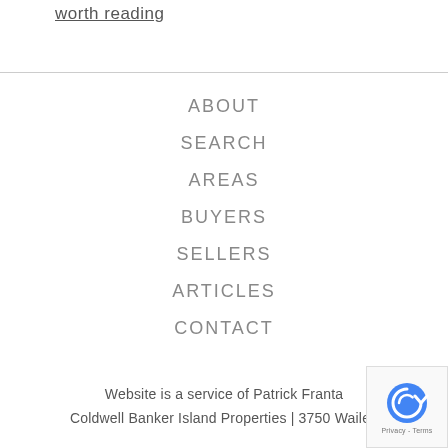worth reading
ABOUT
SEARCH
AREAS
BUYERS
SELLERS
ARTICLES
CONTACT
Website is a service of Patrick Franta
Coldwell Banker Island Properties | 3750 Wailea